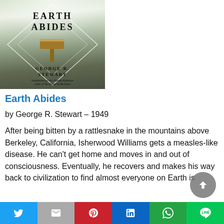[Figure (illustration): Book cover of 'Earth Abides' by George R. Stewart, showing the title in bold serif letters, a wooden mallet/hammer, foggy forested background, diamond shape overlay, and introduction by Kim Stanley Robinson]
Earth Abides
by George R. Stewart – 1949
After being bitten by a rattlesnake in the mountains above Berkeley, California, Isherwood Williams gets a measles-like disease. He can't get home and moves in and out of consciousness. Eventually, he recovers and makes his way back to civilization to find almost everyone on Earth is
Twitter | Gmail | Pinterest | LinkedIn | WhatsApp | LINE